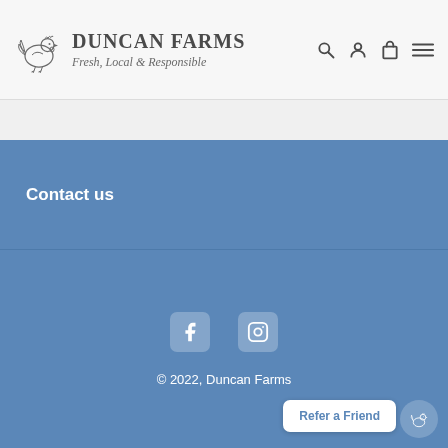DUNCAN FARMS Fresh, Local & Responsible
Contact us
[Figure (logo): Facebook icon]
[Figure (logo): Instagram icon]
© 2022, Duncan Farms
Refer a Friend